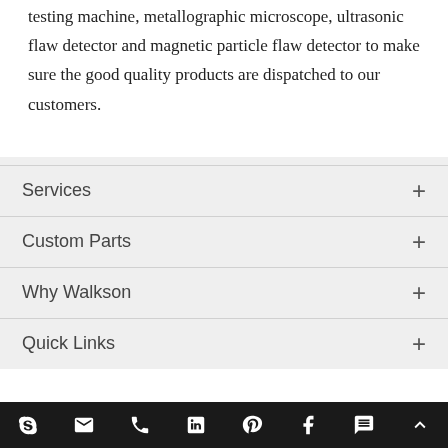testing machine, metallographic microscope, ultrasonic flaw detector and magnetic particle flaw detector to make sure the good quality products are dispatched to our customers.
Services
Custom Parts
Why Walkson
Quick Links
Social media and contact icons: Skype, Email, Phone, LinkedIn, Pinterest, Facebook, Chat, Scroll-up